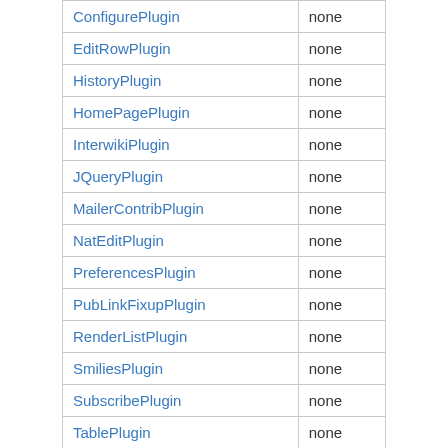| ConfigurePlugin | none |
| EditRowPlugin | none |
| HistoryPlugin | none |
| HomePagePlugin | none |
| InterwikiPlugin | none |
| JQueryPlugin | none |
| MailerContribPlugin | none |
| NatEditPlugin | none |
| PreferencesPlugin | none |
| PubLinkFixupPlugin | none |
| RenderListPlugin | none |
| SmiliesPlugin | none |
| SubscribePlugin | none |
| TablePlugin | none |